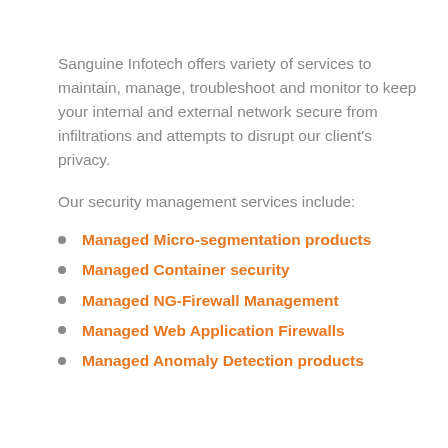Sanguine Infotech offers variety of services to maintain, manage, troubleshoot and monitor to keep your internal and external network secure from infiltrations and attempts to disrupt our client's privacy.
Our security management services include:
Managed Micro-segmentation products
Managed Container security
Managed NG-Firewall Management
Managed Web Application Firewalls
Managed Anomaly Detection products